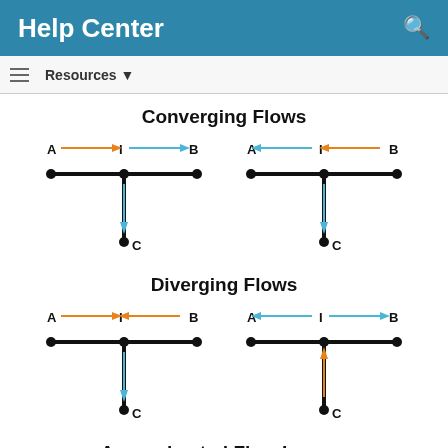Help Center
Resources ▼
Converging Flows
[Figure (engineering-diagram): Two T-junction flow diagrams showing converging flows. Left diagram: flows A→I (orange arrow) and I→B (blue arrow) converge at node I, with output flowing down to C (blue arrow). Right diagram: flows A←I (blue arrow) and B→I (orange arrow) converge at I, with output flowing down to C (blue arrow). All nodes shown as filled circles connected by thick black lines.]
Diverging Flows
[Figure (engineering-diagram): Two T-junction flow diagrams showing diverging flows. Left diagram: flow A→I (orange) diverges at I with B←I (orange arrow) and I→C (blue arrow downward). Right diagram: flow A←I (blue arrow) diverges at I with I→B (blue arrow) and I←C (orange arrow upward). All nodes as filled circles with thick black lines.]
Approximated Flow Losses